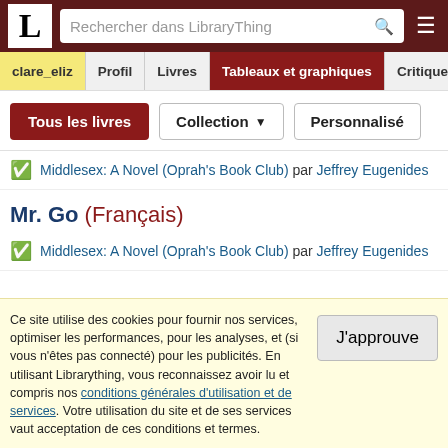LibraryThing — Rechercher dans LibraryThing
clare_eliz | Profil | Livres | Tableaux et graphiques | Critiques
Tous les livres | Collection | Personnalisé
Middlesex: A Novel (Oprah's Book Club) par Jeffrey Eugenides
Mr. Go (Français)
Middlesex: A Novel (Oprah's Book Club) par Jeffrey Eugenides
Ce site utilise des cookies pour fournir nos services, optimiser les performances, pour les analyses, et (si vous n'êtes pas connecté) pour les publicités. En utilisant Librarything, vous reconnaissez avoir lu et compris nos conditions générales d'utilisation et de services. Votre utilisation du site et de ses services vaut acceptation de ces conditions et termes.
J'approuve